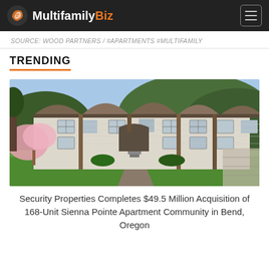MultifamilyBiz
SOURCE: WOOD PARTNERS / #APARTMENTS #MULTIFAMILY
TRENDING
[Figure (photo): Exterior photo of Sienna Pointe Apartment Community in Bend, Oregon — two-story residential buildings with arched rooflines, white siding, brown trim, manicured lawn, blooming pink tree in foreground, forested hills in background.]
Security Properties Completes $49.5 Million Acquisition of 168-Unit Sienna Pointe Apartment Community in Bend, Oregon